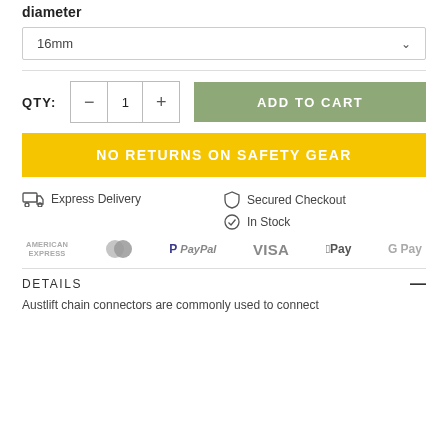diameter
16mm
QTY: 1
ADD TO CART
NO RETURNS ON SAFETY GEAR
Express Delivery
Secured Checkout
In Stock
[Figure (logo): Payment logos: American Express, Mastercard, PayPal, VISA, Apple Pay, Google Pay]
DETAILS
Austlift chain connectors are commonly used to connect